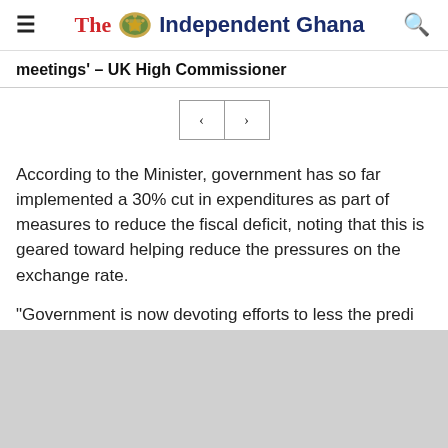The Independent Ghana
meetings' – UK High Commissioner
According to the Minister, government has so far implemented a 30% cut in expenditures as part of measures to reduce the fiscal deficit, noting that this is geared toward helping reduce the pressures on the exchange rate.
“Government is now devoting efforts to less the pres…